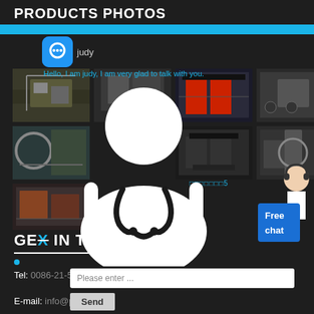PRODUCTS PHOTOS
[Figure (photo): Chat widget overlay with user icon, name 'judy', and message 'Hello, I am judy, I am very glad to talk with you.']
[Figure (photo): Grid of 6 industrial machinery/equipment photos showing crushers, conveyors, and heavy equipment in factory settings. A large white doctor/person avatar icon overlays the center. A customer service representative image with 'Free chat' blue button appears on right.]
□□□□□□□5
GET IN TOUCH
Tel: 0086-21-58386856
E-mail: info@pejaw.com